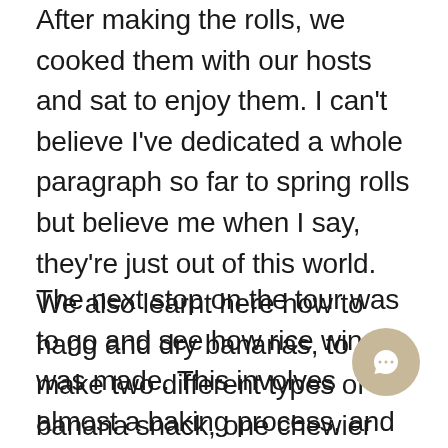After making the rolls, we cooked them with our hosts and sat to enjoy them. I can't believe I've dedicated a whole paragraph so far to spring rolls but believe me when I say, they're just out of this world. We also learnt here how to hang and dry bananas, to make two different types of banana snack, one chewier and sweeter than the other due to extended drying in the sun.
The next stop on the tour was to go and see how rice wine was made. This involves almost a baking process, and some fermentation to make the strong tasting wine. The heat within the house was fairly unbearable, as the 'workshops' are underneath the main room of the house (where the stilts are